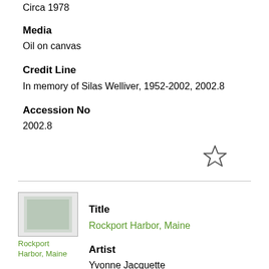Circa 1978
Media
Oil on canvas
Credit Line
In memory of Silas Welliver, 1952-2002, 2002.8
Accession No
2002.8
[Figure (other): Star/bookmark icon (outline star)]
[Figure (photo): Thumbnail image placeholder for Rockport Harbor, Maine]
Title
Rockport Harbor, Maine
Artist
Yvonne Jacquette
Date